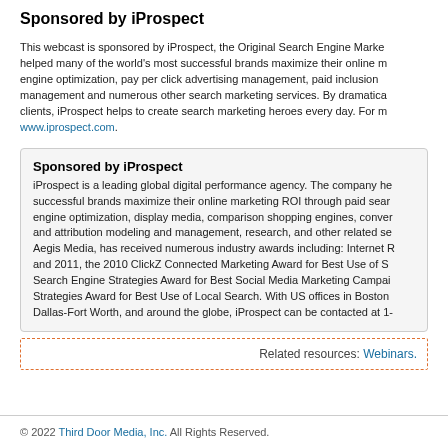Sponsored by iProspect
This webcast is sponsored by iProspect, the Original Search Engine Marke… helped many of the world's most successful brands maximize their online m… engine optimization, pay per click advertising management, paid inclusion … management and numerous other search marketing services. By dramatica… clients, iProspect helps to create search marketing heroes every day. For m… www.iprospect.com.
Sponsored by iProspect
iProspect is a leading global digital performance agency. The company he… successful brands maximize their online marketing ROI through paid sear… engine optimization, display media, comparison shopping engines, conver… and attribution modeling and management, research, and other related se… Aegis Media, has received numerous industry awards including: Internet R… and 2011, the 2010 ClickZ Connected Marketing Award for Best Use of S… Search Engine Strategies Award for Best Social Media Marketing Campai… Strategies Award for Best Use of Local Search. With US offices in Boston… Dallas-Fort Worth, and around the globe, iProspect can be contacted at 1-…
Related resources: Webinars.
© 2022 Third Door Media, Inc. All Rights Reserved.